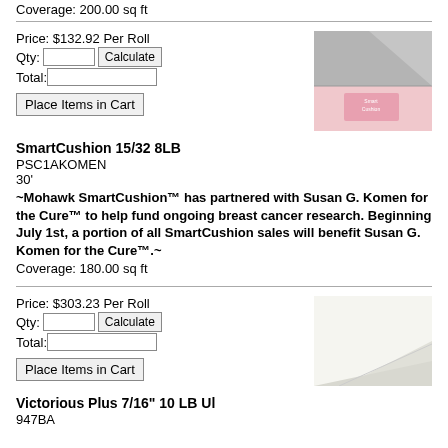Coverage: 200.00 sq ft
Price: $132.92 Per Roll
Qty:
Total:
Place Items in Cart
[Figure (photo): Product photo of carpet padding folded corner showing texture and pink packaging label]
SmartCushion 15/32 8LB
PSC1AKOMEN
30'
~Mohawk SmartCushion™ has partnered with Susan G. Komen for the Cure™ to help fund ongoing breast cancer research. Beginning July 1st, a portion of all SmartCushion sales will benefit Susan G. Komen for the Cure™.~
Coverage: 180.00 sq ft
Price: $303.23 Per Roll
Qty:
Total:
Place Items in Cart
[Figure (photo): Product photo of white/cream carpet padding sheet with slight curl at corner]
Victorious Plus 7/16" 10 LB Ul
947BA